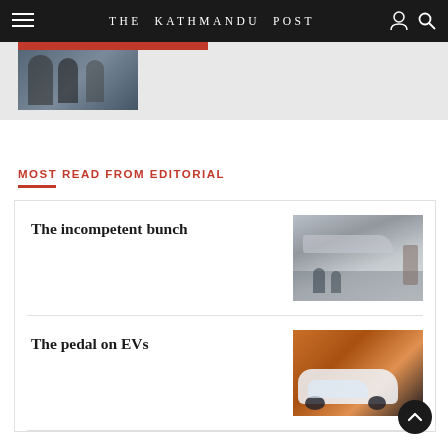THE KATHMANDU POST
[Figure (photo): Partial thumbnail of a news article image at top of page with red bar overlay]
MOST READ FROM EDITORIAL
The incompetent bunch
[Figure (photo): Thumbnail image of aircraft on tarmac with people]
The pedal on EVs
[Figure (photo): Thumbnail image of a white electric vehicle on orange background]